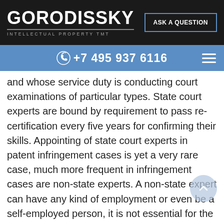[Figure (logo): Gorodissky Intellectual Property TMT logo in white on black background]
ASK A QUESTION
+7 495 937 6116
and whose service duty is conducting court examinations of particular types. State court experts are bound by requirement to pass re-certification every five years for confirming their skills. Appointing of state court experts in patent infringement cases is yet a very rare case, much more frequent in infringement cases are non-state experts. A non-state expert can have any kind of employment or even be a self-employed person, it is not essential for the court provided such expert possesses particular special knowledge for conducting needed expertise. Before appointing a non-state court expert, the court demands and considers information of such expert's educational